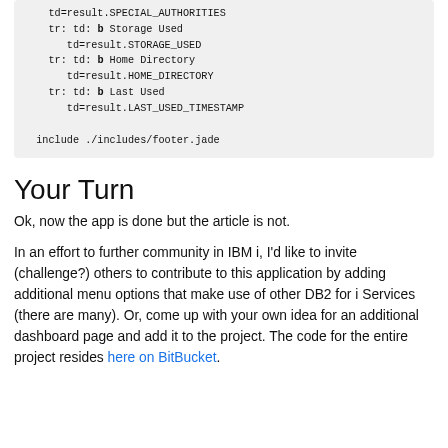td=result.SPECIAL_AUTHORITIES
    tr: td: b Storage Used
       td=result.STORAGE_USED
    tr: td: b Home Directory
       td=result.HOME_DIRECTORY
    tr: td: b Last Used
       td=result.LAST_USED_TIMESTAMP

  include ./includes/footer.jade
Your Turn
Ok, now the app is done but the article is not.
In an effort to further community in IBM i, I'd like to invite (challenge?) others to contribute to this application by adding additional menu options that make use of other DB2 for i Services (there are many). Or, come up with your own idea for an additional dashboard page and add it to the project. The code for the entire project resides here on BitBucket.